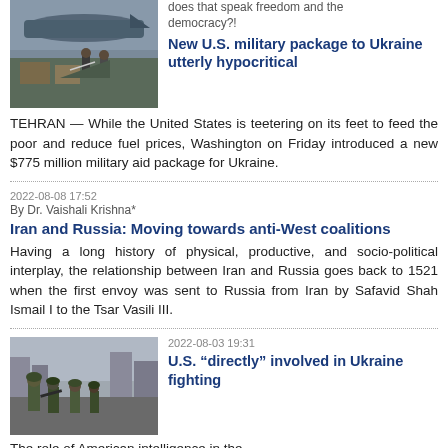[Figure (photo): Military personnel loading equipment onto aircraft]
does that speak freedom and the democracy?!
New U.S. military package to Ukraine utterly hypocritical
TEHRAN — While the United States is teetering on its feet to feed the poor and reduce fuel prices, Washington on Friday introduced a new $775 million military aid package for Ukraine.
2022-08-08 17:52
By Dr. Vaishali Krishna*
Iran and Russia: Moving towards anti-West coalitions
Having a long history of physical, productive, and socio-political interplay, the relationship between Iran and Russia goes back to 1521 when the first envoy was sent to Russia from Iran by Safavid Shah Ismail I to the Tsar Vasili III.
[Figure (photo): Soldiers in military gear on a city street]
2022-08-03 19:31
U.S. “directly” involved in Ukraine fighting
The role of American intelligence in the